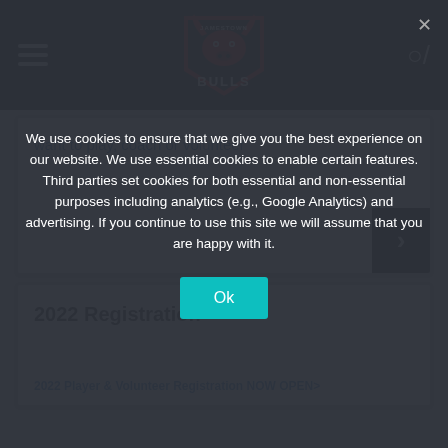[Figure (logo): Jamestown Bulls logo - red bull head with shield on black navigation bar]
want to play, coach or volunteer
2022 Registration
We use cookies to ensure that we give you the best experience on our website. We use essential cookies to enable certain features. Third parties set cookies for both essential and non-essential purposes including analytics (e.g., Google Analytics) and advertising. If you continue to use this site we will assume that you are happy with it.